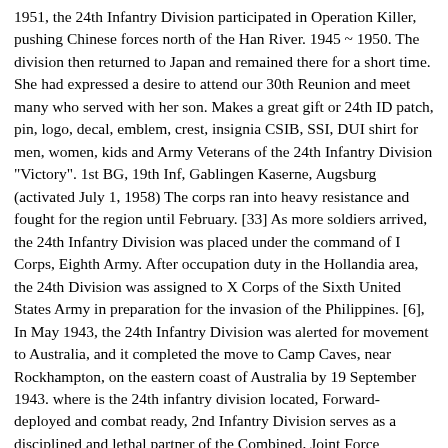1951, the 24th Infantry Division participated in Operation Killer, pushing Chinese forces north of the Han River. 1945 ~ 1950. The division then returned to Japan and remained there for a short time. She had expressed a desire to attend our 30th Reunion and meet many who served with her son. Makes a great gift or 24th ID patch, pin, logo, decal, emblem, crest, insignia CSIB, SSI, DUI shirt for men, women, kids and Army Veterans of the 24th Infantry Division "Victory". 1st BG, 19th Inf, Gablingen Kaserne, Augsburg (activated July 1, 1958) The corps ran into heavy resistance and fought for the region until February. [33] As more soldiers arrived, the 24th Infantry Division was placed under the command of I Corps, Eighth Army. After occupation duty in the Hollandia area, the 24th Division was assigned to X Corps of the Sixth United States Army in preparation for the invasion of the Philippines. [6], In May 1943, the 24th Infantry Division was alerted for movement to Australia, and it completed the move to Camp Caves, near Rockhampton, on the eastern coast of Australia by 19 September 1943. where is the 24th infantry division located, Forward-deployed and combat ready, 2nd Infantry Division serves as a disciplined and lethal partner of the Combined, Joint Force securing the Republic of Korea. The rest of the division landed at Sablayan, Mindoro on 19 February, cleared the remainder of the island and engaged in numerous mopping up actions during the following month. [9] Shortly after the Hollandia landing, the division's 34th Infantry Regiment moved to Biak to reinforce the